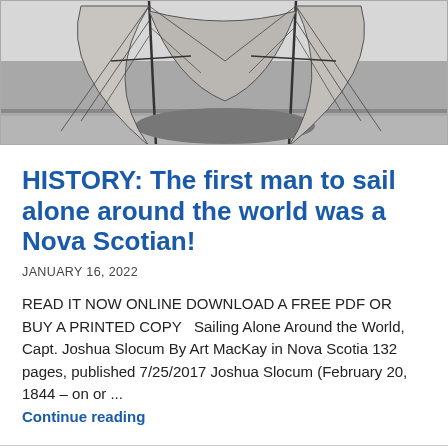[Figure (photo): Black and white photograph of a sailing ship with tall masts and rigging, partially cropped at the top of the page]
HISTORY: The first man to sail alone around the world was a Nova Scotian!
JANUARY 16, 2022
READ IT NOW ONLINE DOWNLOAD A FREE PDF OR BUY A PRINTED COPY   Sailing Alone Around the World, Capt. Joshua Slocum By Art MacKay in Nova Scotia 132 pages, published 7/25/2017 Joshua Slocum (February 20, 1844 – on or ...
Continue reading